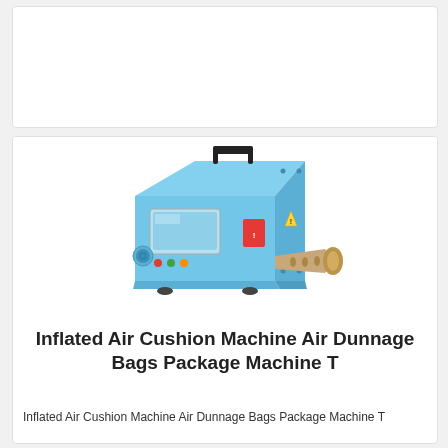[Figure (photo): Top portion of a product card, cropped, white background]
[Figure (photo): Photo of a light blue inflated air cushion machine / dunnage bag packaging machine with a handle on top, LCD display panel on front, fan vent on the side, and a brown roll feed mechanism on the right side.]
Inflated Air Cushion Machine Air Dunnage Bags Package Machine T
Inflated Air Cushion Machine Air Dunnage Bags Package Machine T
$419.00